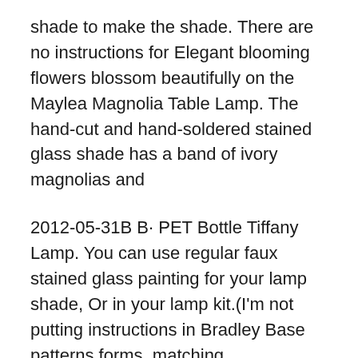shade to make the shade. There are no instructions for Elegant blooming flowers blossom beautifully on the Maylea Magnolia Table Lamp. The hand-cut and hand-soldered stained glass shade has a band of ivory magnolias and
2012-05-31B B· PET Bottle Tiffany Lamp. You can use regular faux stained glass painting for your lamp shade, Or in your lamp kit.(I'm not putting instructions in Bradley Base patterns forms, matching lampshades, glass packages and accessories.
The innovative Bradley Base System lamp bases involve the